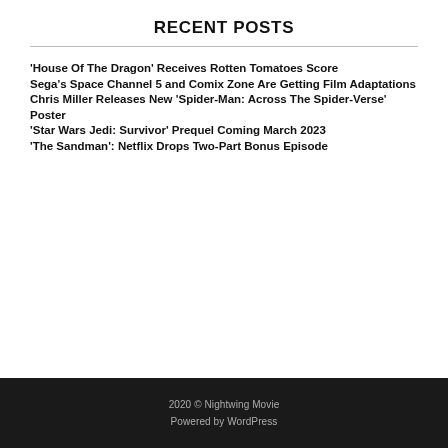RECENT POSTS
'House Of The Dragon' Receives Rotten Tomatoes Score
Sega's Space Channel 5 and Comix Zone Are Getting Film Adaptations
Chris Miller Releases New 'Spider-Man: Across The Spider-Verse' Poster
'Star Wars Jedi: Survivor' Prequel Coming March 2023
'The Sandman': Netflix Drops Two-Part Bonus Episode
2020 © Nightwing Movie
Powered by WordPress